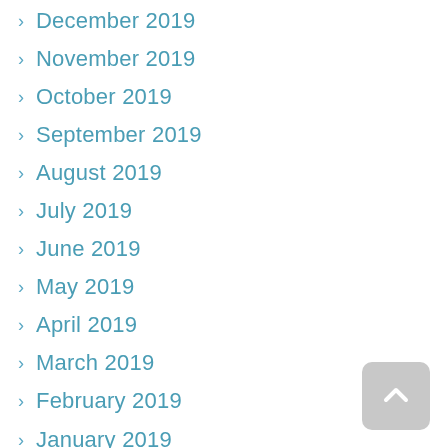December 2019
November 2019
October 2019
September 2019
August 2019
July 2019
June 2019
May 2019
April 2019
March 2019
February 2019
January 2019
December 2018
November 2018
October 2018
September 2018
August 2018
July 2018
June 2018
May 2018
April 2018
March 2018